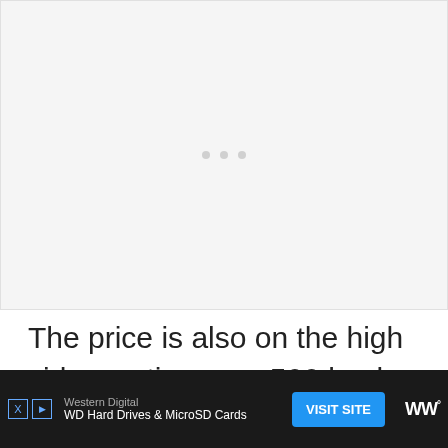[Figure (photo): Large empty/loading image area with light gray background and three small gray dots in the center indicating a loading spinner or carousel indicator]
The price is also on the high side, costing over 500 bucks. This here is not a cheap Skilsaw c...g
[Figure (infographic): Advertisement bar at bottom: Western Digital - WD Hard Drives & MicroSD Cards - VISIT SITE button - with WW logo on right]